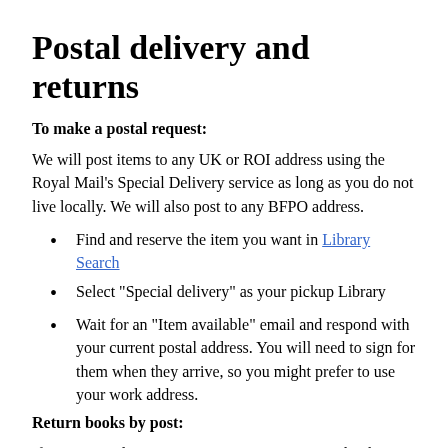Postal delivery and returns
To make a postal request:
We will post items to any UK or ROI address using the Royal Mail's Special Delivery service as long as you do not live locally. We will also post to any BFPO address.
Find and reserve the item you want in Library Search
Select "Special delivery" as your pickup Library
Wait for an "Item available" email and respond with your current postal address. You will need to sign for them when they arrive, so you might prefer to use your work address.
Return books by post:
If you are ready to return items to us, you can either bring